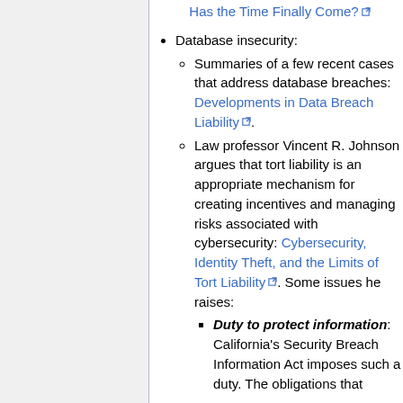Has the Time Finally Come? [link]
Database insecurity:
Summaries of a few recent cases that address database breaches: Developments in Data Breach Liability [link].
Law professor Vincent R. Johnson argues that tort liability is an appropriate mechanism for creating incentives and managing risks associated with cybersecurity: Cybersecurity, Identity Theft, and the Limits of Tort Liability [link]. Some issues he raises:
Duty to protect information: California's Security Breach Information Act imposes such a duty. The obligations that